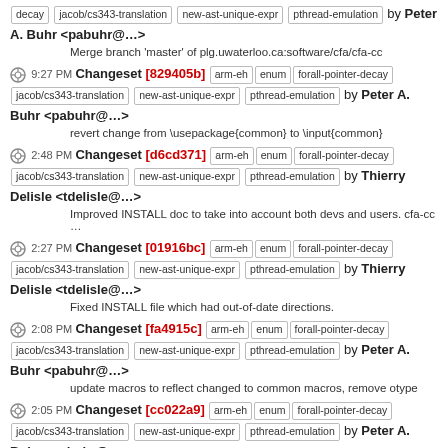decay jacob/cs343-translation new-ast-unique-expr pthread-emulation by Peter A. Buhr <pabuhr@...> Merge branch 'master' of plg.uwaterloo.ca:software/cfa/cfa-cc
9:27 PM Changeset [829405b] arm-eh enum forall-pointer-decay jacob/cs343-translation new-ast-unique-expr pthread-emulation by Peter A. Buhr <pabuhr@...> revert change from \usepackage{common} to \input{common}
2:48 PM Changeset [d6cd371] arm-eh enum forall-pointer-decay jacob/cs343-translation new-ast-unique-expr pthread-emulation by Thierry Delisle <tdelisle@...> Improved INSTALL doc to take into account both devs and users. cfa-cc ...
2:27 PM Changeset [01916bc] arm-eh enum forall-pointer-decay jacob/cs343-translation new-ast-unique-expr pthread-emulation by Thierry Delisle <tdelisle@...> Fixed INSTALL file which had out-of-date directions.
2:08 PM Changeset [fa4915c] arm-eh enum forall-pointer-decay jacob/cs343-translation new-ast-unique-expr pthread-emulation by Peter A. Buhr <pabuhr@...> update macros to reflect changed to common macros, remove otype
2:05 PM Changeset [cc022a9] arm-eh enum forall-pointer-decay jacob/cs343-translation new-ast-unique-expr pthread-emulation by Peter A. Buhr <pabuhr@...> clean up macros and add defaultdialect={CFA}
9:18 AM Changeset [0497bd6] arm-eh enum forall-pointer-